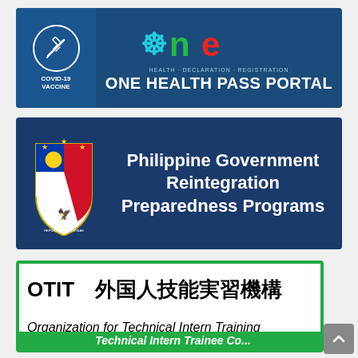[Figure (logo): One Health Pass Portal banner with dark blue background, COVID-19 Vaccine syringe icon on left, colorful 'one' logo text at top, 'HEALTH · DECLARATION · REGISTRATION' subtitle, and 'ONE HEALTH PASS PORTAL' in large white bold text]
[Figure (logo): Philippine Government Reintegration Preparedness Programs banner with dark navy background, Philippine coat of arms seal on left, white bold text reading 'Philippine Government Reintegration Preparedness Programs']
[Figure (logo): OTIT organization banner with white background and green border, showing 'OTIT 外国人技能実習機構' in large bold text, 'Organization for Technical Intern Training' in italic, and 'Technical Intern Trainee...' in green bar at bottom]